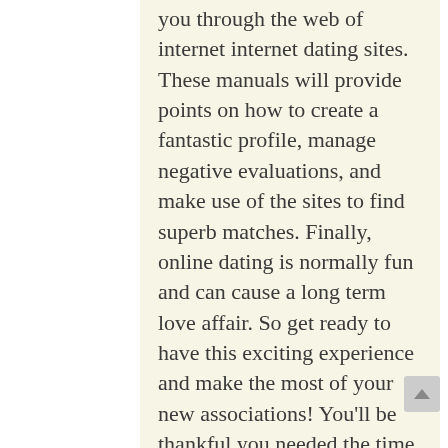you through the web of internet internet dating sites. These manuals will provide points on how to create a fantastic profile, manage negative evaluations, and make use of the sites to find superb matches. Finally, online dating is normally fun and can cause a long term love affair. So get ready to have this exciting experience and make the most of your new associations! You'll be thankful you needed the time to read this